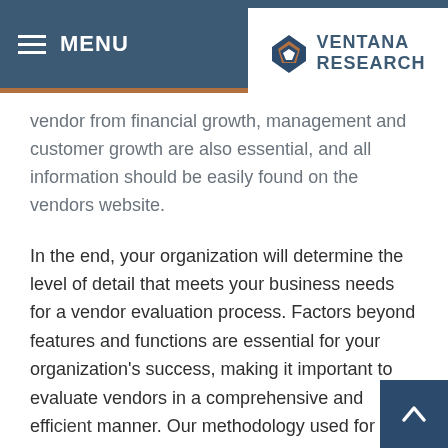MENU
vendor from financial growth, management and customer growth are also essential, and all information should be easily found on the vendors website.
In the end, your organization will determine the level of detail that meets your business needs for a vendor evaluation process. Factors beyond features and functions are essential for your organization's success, making it important to evaluate vendors in a comprehensive and efficient manner. Our methodology used for almost two decades in our Value Index research and helping